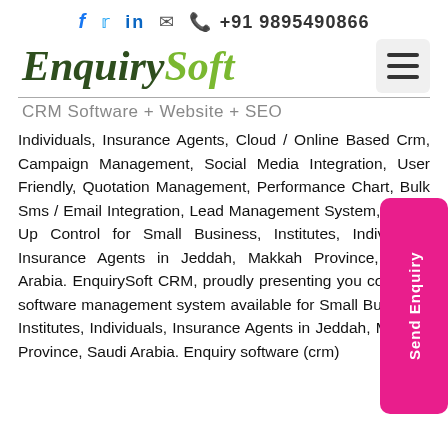f  t  in  ✉  📞 +91 9895490866
[Figure (logo): EnquirySoft logo with dark green italic serif 'Enquiry' and light green italic serif 'Soft' text]
CRM Software + Website + SEO
Individuals, Insurance Agents, Cloud / Online Based Crm, Campaign Management, Social Media Integration, User Friendly, Quotation Management, Performance Chart, Bulk Sms / Email Integration, Lead Management System, Follow Up Control for Small Business, Institutes, Individuals, Insurance Agents in Jeddah, Makkah Province, Saudi Arabia. EnquirySoft CRM, proudly presenting you complete software management system available for Small Business, Institutes, Individuals, Insurance Agents in Jeddah, Makkah Province, Saudi Arabia. Enquiry software (crm)